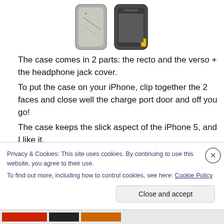[Figure (photo): Two photos of an iPhone case: one showing the back/grey side and one showing the front/yellow side of the case]
The case comes in 2 parts: the recto and the verso + the headphone jack cover.
To put the case on your iPhone, clip together the 2 faces and close well the charge port door and off you go!
The case keeps the slick aspect of the iPhone 5, and I like it.
The plastic of the cover is light.
The screen is protected by a plastic screen so no need for
Privacy & Cookies: This site uses cookies. By continuing to use this website, you agree to their use.
To find out more, including how to control cookies, see here: Cookie Policy
Close and accept